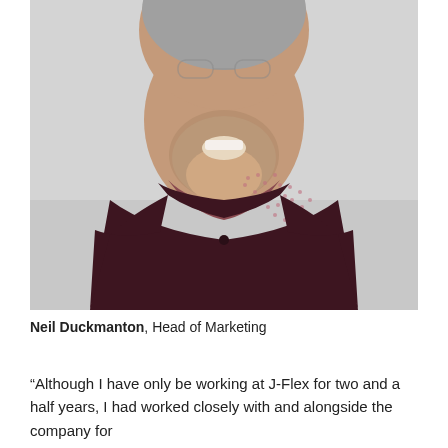[Figure (photo): Portrait photo of Neil Duckmanton, a middle-aged man with short grey stubble, wearing a dark maroon polo shirt over a patterned collared shirt, smiling, against a light grey background.]
Neil Duckmanton, Head of Marketing
“Although I have only be working at J-Flex for two and a half years, I had worked closely with and alongside the company for